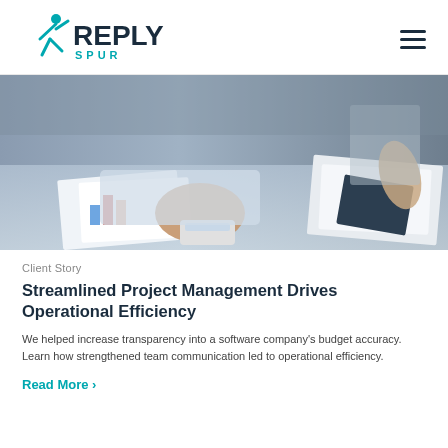REPLY SPUR
[Figure (photo): Close-up of a person's hands at a desk, typing on a calculator or keyboard, with financial charts and documents spread on the table and another person holding papers in the background.]
Client Story
Streamlined Project Management Drives Operational Efficiency
We helped increase transparency into a software company's budget accuracy. Learn how strengthened team communication led to operational efficiency.
Read More >